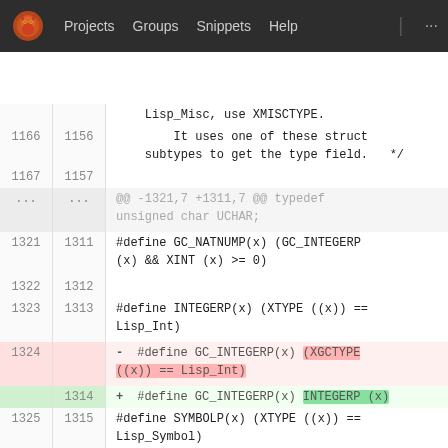Projects  Groups  Snippets  Help  ...
[Figure (screenshot): GitLab diff view showing code changes to C macro definitions. Lines 1166-1327 (old) and 1156-1317 (new) are shown. A deleted line (1324) shows '#define GC_INTEGERP(x) (XGCTYPE ((x)) == Lisp_Int)' highlighted in red, and an added line (1314) shows '#define GC_INTEGERP(x) INTEGERP (x)' highlighted in green.]